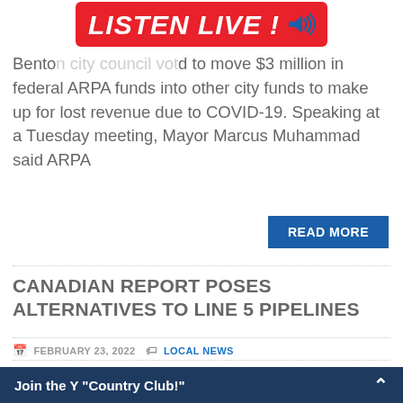[Figure (other): Red banner advertisement with white bold italic text LISTEN LIVE ! and a blue speaker/sound icon on the right]
Bento[n city council voted] to move $3 million in federal ARPA funds into other city funds to make up for lost revenue due to COVID-19. Speaking at a Tuesday meeting, Mayor Marcus Muhammad said ARPA
READ MORE
CANADIAN REPORT POSES ALTERNATIVES TO LINE 5 PIPELINES
FEBRUARY 23, 2022   LOCAL NEWS
[Figure (photo): Landscape photo partially visible — sky and fields at dusk or dawn]
Join the Y "Country Club!"